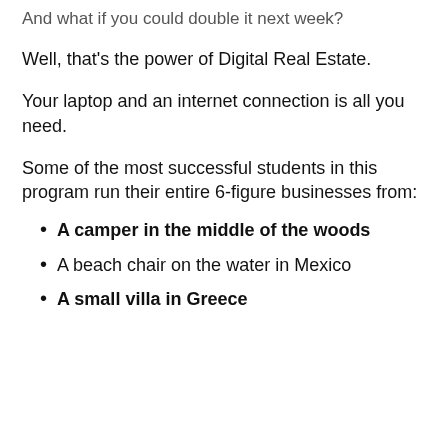And what if you could double it next week?
Well, that's the power of Digital Real Estate.
Your laptop and an internet connection is all you need.
Some of the most successful students in this program run their entire 6-figure businesses from:
A camper in the middle of the woods
A beach chair on the water in Mexico
A small villa in Greece